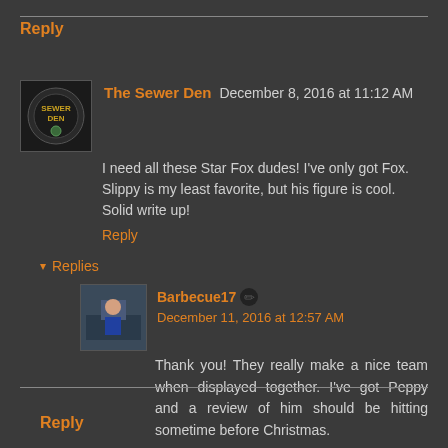Reply
The Sewer Den  December 8, 2016 at 11:12 AM
I need all these Star Fox dudes! I've only got Fox. Slippy is my least favorite, but his figure is cool. Solid write up!
Reply
Replies
Barbecue17  December 11, 2016 at 12:57 AM
Thank you! They really make a nice team when displayed together. I've got Peppy and a review of him should be hitting sometime before Christmas.
Reply